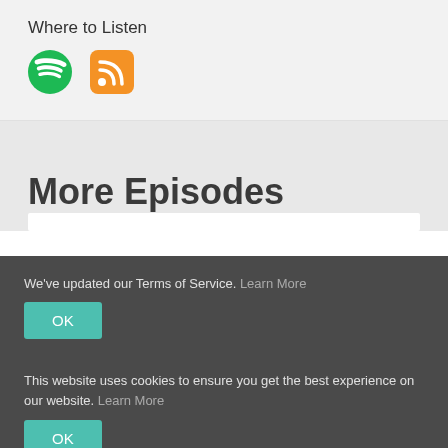Where to Listen
[Figure (logo): Spotify green circle logo icon]
[Figure (logo): RSS feed orange rounded square icon]
More Episodes
We've updated our Terms of Service. Learn More
OK
This website uses cookies to ensure you get the best experience on our website. Learn More
OK